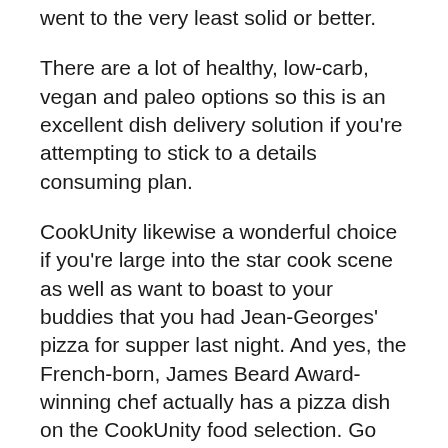went to the very least solid or better.
There are a lot of healthy, low-carb, vegan and paleo options so this is an excellent dish delivery solution if you're attempting to stick to a details consuming plan.
CookUnity likewise a wonderful choice if you're large into the star cook scene as well as want to boast to your buddies that you had Jean-Georges' pizza for supper last night. And yes, the French-born, James Beard Award-winning chef actually has a pizza dish on the CookUnity food selection. Go figure.
Who is CookUnity not as helpful for?